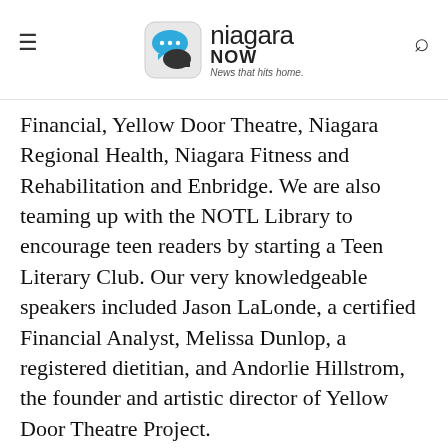niagara NOW — News that hits home.
Financial, Yellow Door Theatre, Niagara Regional Health, Niagara Fitness and Rehabilitation and Enbridge. We are also teaming up with the NOTL Library to encourage teen readers by starting a Teen Literary Club. Our very knowledgeable speakers included Jason LaLonde, a certified Financial Analyst, Melissa Dunlop, a registered dietitian, and Andorlie Hillstrom, the founder and artistic director of Yellow Door Theatre Project.
Currently we are seeking new members for the 2018 to 2019 council. Applications can be found online at www.jointheconversationnotl.org and the